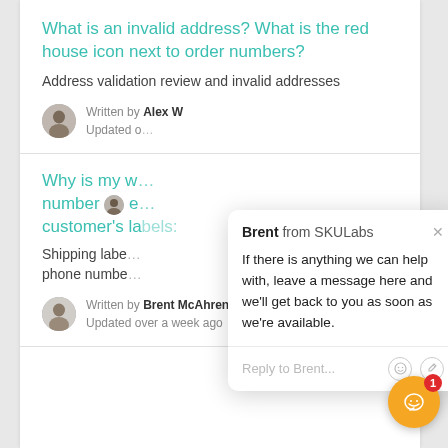What is an invalid address? What is the red house icon next to order numbers?
Address validation review and invalid addresses
Written by Alex W
Updated o
Why is my w number e customer's labels:
Shipping labe phone numbe
Written by Brent McAhren
Updated over a week ago
[Figure (screenshot): Chat popup from Brent from SKULabs saying: If there is anything we can help with, leave a message here and we'll get back to you as soon as we're available. Reply to Brent input field with emoji and attachment icons.]
[Figure (other): Orange chat button with smiley face icon and red badge showing '1']